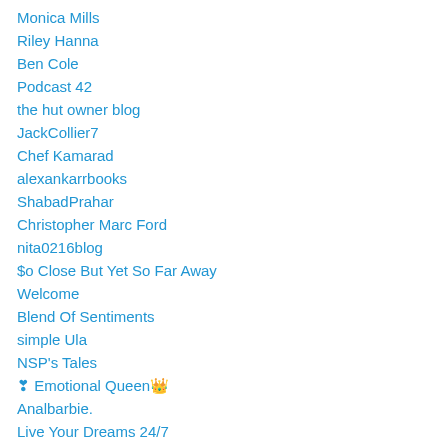Monica Mills
Riley Hanna
Ben Cole
Podcast 42
the hut owner blog
JackCollier7
Chef Kamarad
alexankarrbooks
ShabadPrahar
Christopher Marc Ford
nita0216blog
$o Close But Yet So Far Away
Welcome
Blend Of Sentiments
simple Ula
NSP's Tales
❣ Emotional Queen👑
Analbarbie.
Live Your Dreams 24/7
Chaotic Shapes